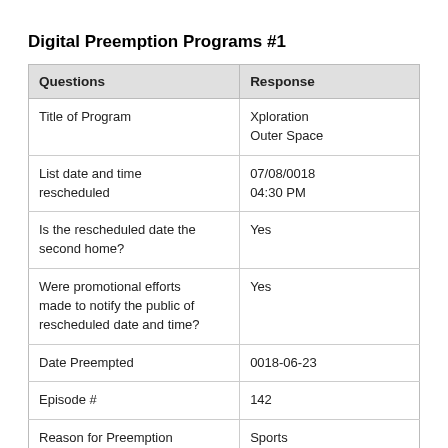Digital Preemption Programs #1
| Questions | Response |
| --- | --- |
| Title of Program | Xploration Outer Space |
| List date and time rescheduled | 07/08/0018 04:30 PM |
| Is the rescheduled date the second home? | Yes |
| Were promotional efforts made to notify the public of rescheduled date and time? | Yes |
| Date Preempted | 0018-06-23 |
| Episode # | 142 |
| Reason for Preemption | Sports |